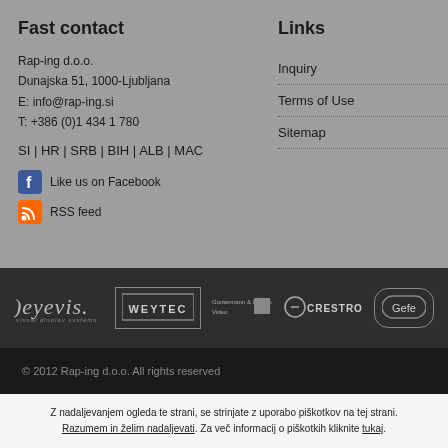Fast contact
Rap-ing d.o.o.
Dunajska 51, 1000-Ljubljana
E: info@rap-ing.si
T: +386 (0)1 434 1 780
SI | HR | SRB | BIH | ALB | MAC
Like us on Facebook
RSS feed
Links
Inquiry
Terms of Use
Sitemap
[Figure (logo): Partner logos: eyevis, WEYTEC, Guntermann & Drunck, CRESTRON, Gefen]
© 2012 Rap-ing d.o.o. All rights reserved
Z nadaljevanjem ogleda te strani, se strinjate z uporabo piškotkov na tej strani. Razumem in želim nadaljevati. Za več informacij o piškotkih kliknite tukaj.